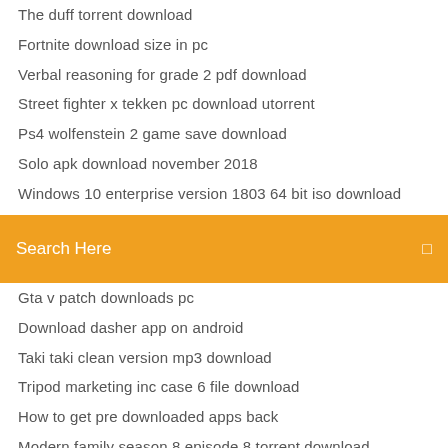The duff torrent download
Fortnite download size in pc
Verbal reasoning for grade 2 pdf download
Street fighter x tekken pc download utorrent
Ps4 wolfenstein 2 game save download
Solo apk download november 2018
Windows 10 enterprise version 1803 64 bit iso download
Search Here
Gta v patch downloads pc
Download dasher app on android
Taki taki clean version mp3 download
Tripod marketing inc case 6 file download
How to get pre downloaded apps back
Modern family season 8 episode 8 torrent download
Ps4 download speed xfinity
Merck manual pdf download
How to download gta 5 onto your pc
Free comic books download pdf